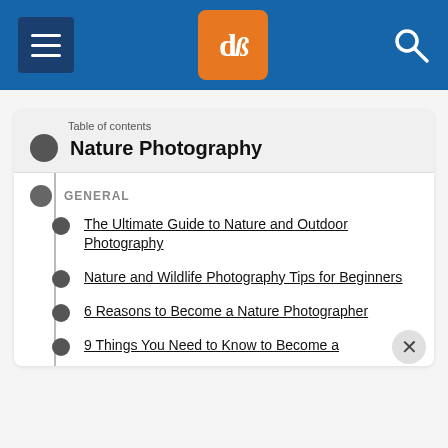dPS navigation bar with hamburger menu, dPS logo, and search icon
Table of contents
Nature Photography
GENERAL
The Ultimate Guide to Nature and Outdoor Photography
Nature and Wildlife Photography Tips for Beginners
6 Reasons to Become a Nature Photographer
9 Things You Need to Know to Become a